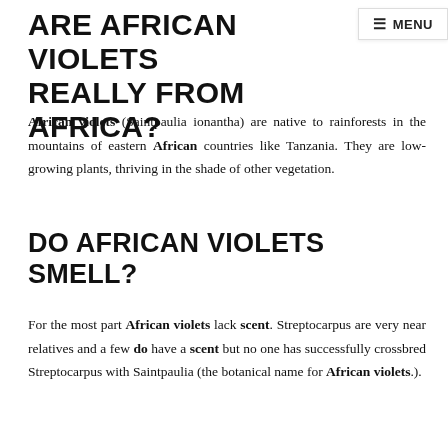≡ MENU
ARE AFRICAN VIOLETS REALLY FROM AFRICA?
African violets (Saintpaulia ionantha) are native to rainforests in the mountains of eastern African countries like Tanzania. They are low-growing plants, thriving in the shade of other vegetation.
DO AFRICAN VIOLETS SMELL?
For the most part African violets lack scent. Streptocarpus are very near relatives and a few do have a scent but no one has successfully crossbred Streptocarpus with Saintpaulia (the botanical name for African violets.).